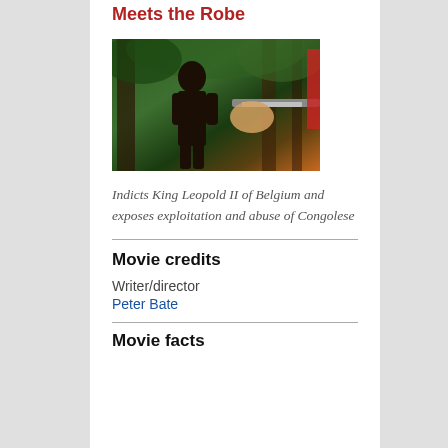Meets the Robe
[Figure (photo): A young African boy stands shirtless in a jungle/forest setting, with a hand holding a gun or tool pointed at him from the right side of the frame.]
Indicts King Leopold II of Belgium and exposes exploitation and abuse of Congolese
Movie credits
Writer/director
Peter Bate
Movie facts